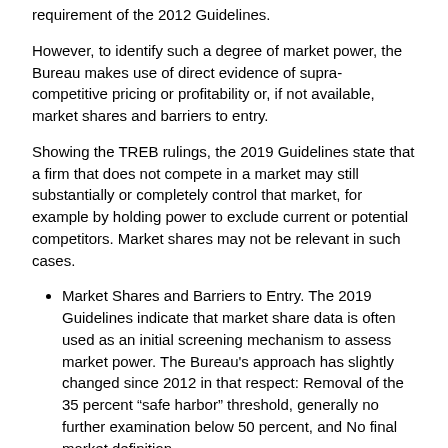requirement of the 2012 Guidelines.
However, to identify such a degree of market power, the Bureau makes use of direct evidence of supra-competitive pricing or profitability or, if not available, market shares and barriers to entry.
Showing the TREB rulings, the 2019 Guidelines state that a firm that does not compete in a market may still substantially or completely control that market, for example by holding power to exclude current or potential competitors. Market shares may not be relevant in such cases.
Market Shares and Barriers to Entry. The 2019 Guidelines indicate that market share data is often used as an initial screening mechanism to assess market power. The Bureau's approach has slightly changed since 2012 in that respect: Removal of the 35 percent “safe harbor” threshold, generally no further examination below 50 percent, and No final market definition.
Ability to Exclude. Just like it was mentioned above, the Bureau’s comments on the ability to exclude are new.